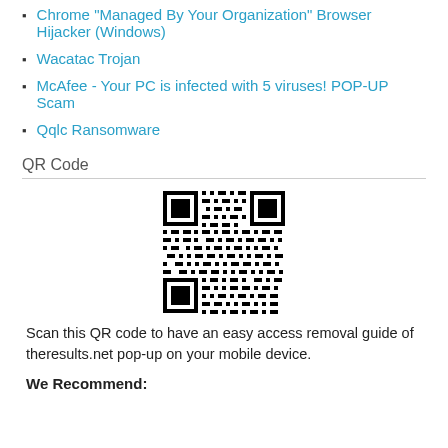Chrome "Managed By Your Organization" Browser Hijacker (Windows)
Wacatac Trojan
McAfee - Your PC is infected with 5 viruses! POP-UP Scam
Qqlc Ransomware
QR Code
[Figure (other): QR code for easy access removal guide of theresults.net pop-up on mobile device]
Scan this QR code to have an easy access removal guide of theresults.net pop-up on your mobile device.
We Recommend: